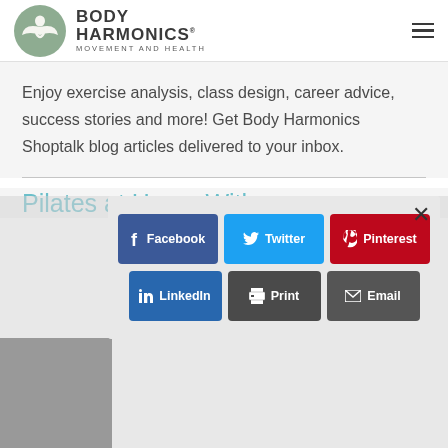Body Harmonics - Movement and Health
Enjoy exercise analysis, class design, career advice, success stories and more! Get Body Harmonics Shoptalk blog articles delivered to your inbox.
Pilates at Home With
[Figure (screenshot): Share modal dialog with buttons: Facebook, Twitter, Pinterest, LinkedIn, Print, Email]